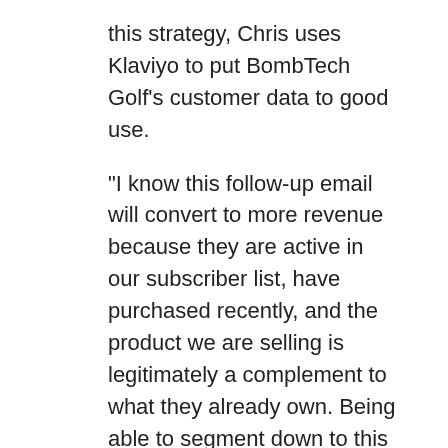this strategy, Chris uses Klaviyo to put BombTech Golf's customer data to good use.
“I know this follow-up email will convert to more revenue because they are active in our subscriber list, have purchased recently, and the product we are selling is legitimately a complement to what they already own. Being able to segment down to this level is game changing,” he says.
Through a combination of meticulous customization and branding — Sully is the face and the voice of the brand in email,